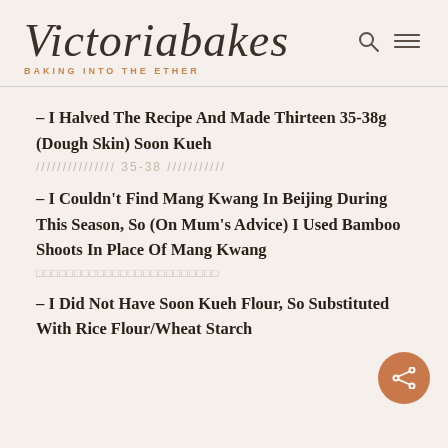Victoriabakes — BAKING INTO THE ETHER
– I Halved The Recipe And Made Thirteen 35-38g (Dough Skin) Soon Kueh
/////////////// 35-38 ///////////
– I Couldn't Find Mang Kwang In Beijing During This Season, So (On Mum's Advice) I Used Bamboo Shoots In Place Of Mang Kwang
□□□□□□□□□□□□□□□□□□□□□□□□
– I Did Not Have Soon Kueh Flour, So Substituted With Rice Flour/Wheat Starch